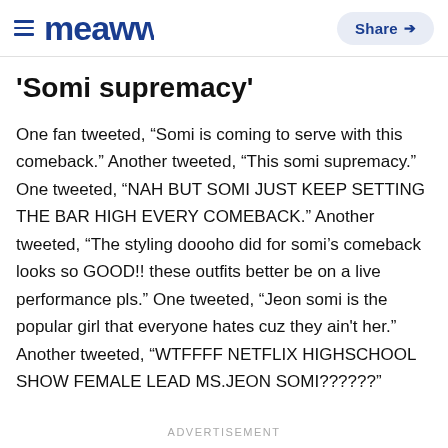meaww | Share
'Somi supremacy'
One fan tweeted, “Somi is coming to serve with this comeback.” Another tweeted, “This somi supremacy.” One tweeted, “NAH BUT SOMI JUST KEEP SETTING THE BAR HIGH EVERY COMEBACK.” Another tweeted, “The styling doooho did for somi’s comeback looks so GOOD!! these outfits better be on a live performance pls.” One tweeted, “Jeon somi is the popular girl that everyone hates cuz they ain't her.” Another tweeted, “WTFFFF NETFLIX HIGHSCHOOL SHOW FEMALE LEAD MS.JEON SOMI??????”
ADVERTISEMENT